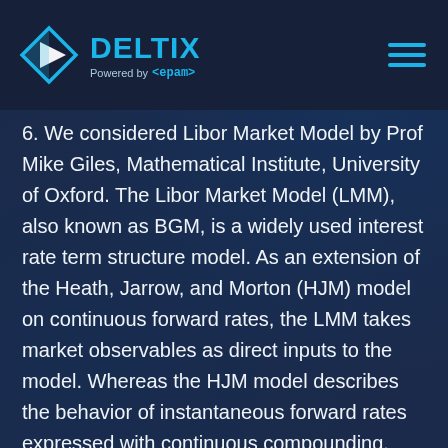[Figure (logo): Deltix logo with diamond/play-button icon in blue and white, text 'DELTIX' in cyan bold, 'Powered by <epam>' below in lighter text]
6. We considered Libor Market Model by Prof Mike Giles, Mathematical Institute, University of Oxford. The Libor Market Model (LMM), also known as BGM, is a widely used interest rate term structure model. As an extension of the Heath, Jarrow, and Morton (HJM) model on continuous forward rates, the LMM takes market observables as direct inputs to the model. Whereas the HJM model describes the behavior of instantaneous forward rates expressed with continuous compounding. LMM postulates dynamical propagation of the forward Libor rates, which are the floating rates to index the interest rate swap funding